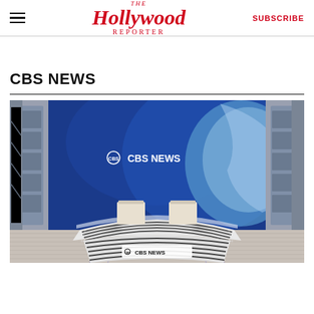The Hollywood Reporter | SUBSCRIBE
CBS NEWS
[Figure (photo): CBS News studio set with blue background displaying 'CBS NEWS' logo, a white striped anchor desk with CBS NEWS branding on the front, two chairs behind the desk, and a circular floor design]